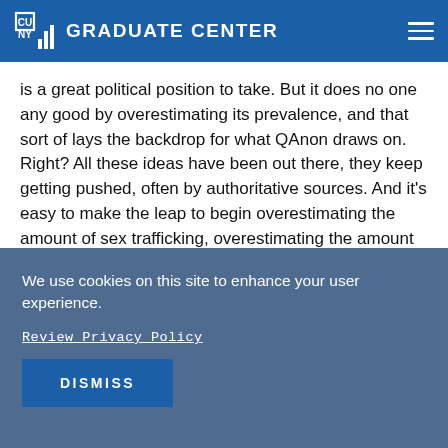CUNY GRADUATE CENTER
is a great political position to take. But it does no one any good by overestimating its prevalence, and that sort of lays the backdrop for what QAnon draws on. Right? All these ideas have been out there, they keep getting pushed, often by authoritative sources. And it's easy to make the leap to begin overestimating the amount of sex trafficking, overestimating the amount of Hollywood and government involvement in that sex trafficking. And it's not too far, you know, a hop, skip, and a jump from that to QAnon.
We use cookies on this site to enhance your user experience.
Review Privacy Policy
DISMISS